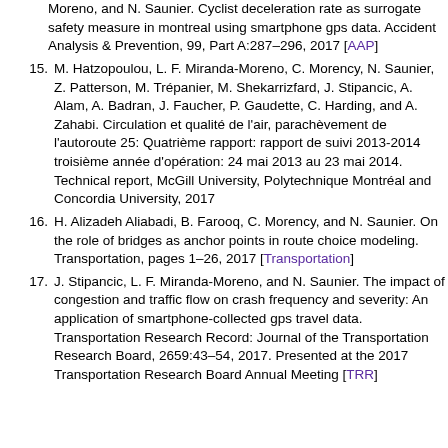(continuation) ...Moreno, and N. Saunier. Cyclist deceleration rate as surrogate safety measure in montreal using smartphone gps data. Accident Analysis & Prevention, 99, Part A:287–296, 2017 [AAP]
15. M. Hatzopoulou, L. F. Miranda-Moreno, C. Morency, N. Saunier, Z. Patterson, M. Trépanier, M. Shekarrizfard, J. Stipancic, A. Alam, A. Badran, J. Faucher, P. Gaudette, C. Harding, and A. Zahabi. Circulation et qualité de l'air, parachèvement de l'autoroute 25: Quatrième rapport: rapport de suivi 2013-2014 troisième année d'opération: 24 mai 2013 au 23 mai 2014. Technical report, McGill University, Polytechnique Montréal and Concordia University, 2017
16. H. Alizadeh Aliabadi, B. Farooq, C. Morency, and N. Saunier. On the role of bridges as anchor points in route choice modeling. Transportation, pages 1–26, 2017 [Transportation]
17. J. Stipancic, L. F. Miranda-Moreno, and N. Saunier. The impact of congestion and traffic flow on crash frequency and severity: An application of smartphone-collected gps travel data. Transportation Research Record: Journal of the Transportation Research Board, 2659:43–54, 2017. Presented at the 2017 Transportation Research Board Annual Meeting [TRR]